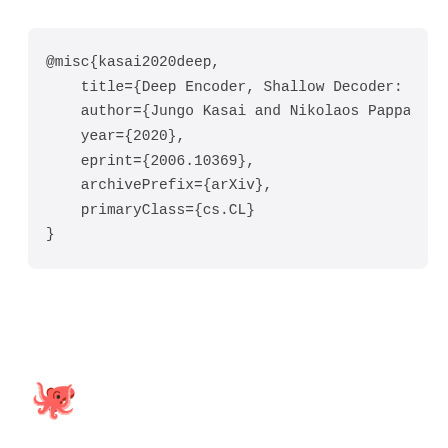@misc{kasai2020deep,
    title={Deep Encoder, Shallow Decoder: Re
    author={Jungo Kasai and Nikolaos Pappas a
    year={2020},
    eprint={2006.10369},
    archivePrefix={arXiv},
    primaryClass={cs.CL}
}
[Figure (other): Yellow ghost/blob emoji with smiling face]